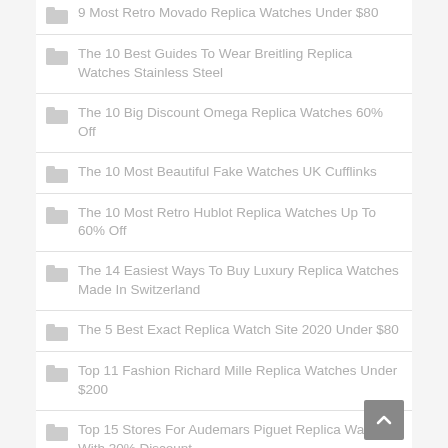9 Most Retro Movado Replica Watches Under $80
The 10 Best Guides To Wear Breitling Replica Watches Stainless Steel
The 10 Big Discount Omega Replica Watches 60% Off
The 10 Most Beautiful Fake Watches UK Cufflinks
The 10 Most Retro Hublot Replica Watches Up To 60% Off
The 14 Easiest Ways To Buy Luxury Replica Watches Made In Switzerland
The 5 Best Exact Replica Watch Site 2020 Under $80
Top 11 Fashion Richard Mille Replica Watches Under $200
Top 15 Stores For Audemars Piguet Replica Watches With 30% Discount